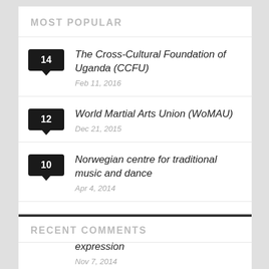MOST POPULAR
The Cross-Cultural Foundation of Uganda (CCFU)
Feb 11, 2016
World Martial Arts Union (WoMAU)
Dec 21, 2015
Norwegian centre for traditional music and dance
Apr 4, 2014
Bunads and Folk Costumes as wearable knowledge and cultural expression
Nov 7, 2014
RECENT COMMENTS